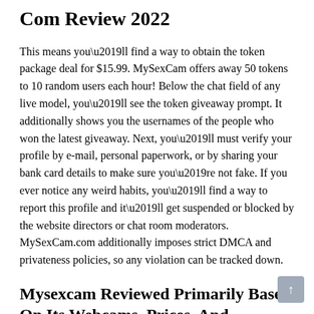Com Review 2022
This means you’ll find a way to obtain the token package deal for $15.99. MySexCam offers away 50 tokens to 10 random users each hour! Below the chat field of any live model, you’ll see the token giveaway prompt. It additionally shows you the usernames of the people who won the latest giveaway. Next, you’ll must verify your profile by e-mail, personal paperwork, or by sharing your bank card details to make sure you’re not fake. If you ever notice any weird habits, you’ll find a way to report this profile and it’ll get suspended or blocked by the website directors or chat room moderators. MySexCam.com additionally imposes strict DMCA and privateness policies, so any violation can be tracked down.
Mysexcam Reviewed Primarily Based On Its Webcams, Prices, And Providers